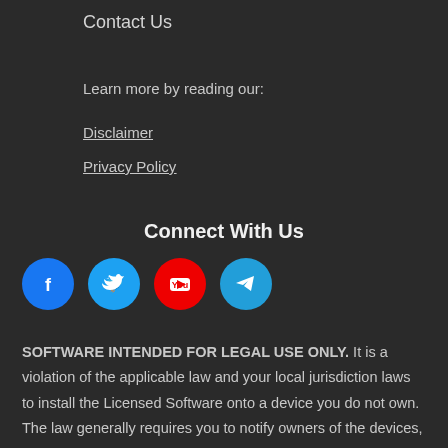Contact Us
Learn more by reading our:
Disclaimer
Privacy Policy
Connect With Us
[Figure (infographic): Four social media icon buttons: Facebook (blue), Twitter (blue), YouTube (red), Telegram (blue)]
SOFTWARE INTENDED FOR LEGAL USE ONLY. It is a violation of the applicable law and your local jurisdiction laws to install the Licensed Software onto a device you do not own. The law generally requires you to notify owners of the devices, on